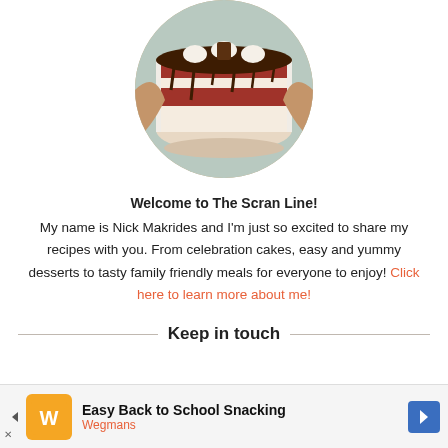[Figure (photo): Circular cropped photo of a layered chocolate drip cake with cream frosting and cookie toppings, held by hands on a teal plate.]
Welcome to The Scran Line! My name is Nick Makrides and I'm just so excited to share my recipes with you. From celebration cakes, easy and yummy desserts to tasty family friendly meals for everyone to enjoy! Click here to learn more about me!
Keep in touch
[Figure (other): Advertisement banner: Easy Back to School Snacking - Wegmans]